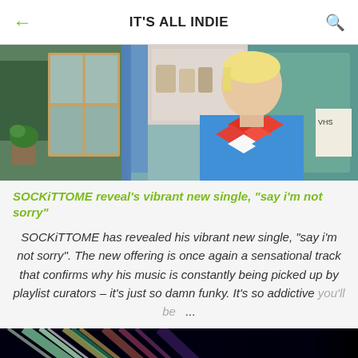IT'S ALL INDIE
[Figure (photo): A man with bleached blonde hair wearing a colorful diamond-pattern sweater in blue, red, orange and white, sitting in what appears to be a kitchen or cottage interior with a window, curtains, and shelving visible.]
SOCKiTTOME reveal's vibrant new single, "say i'm not sorry"
SOCKiTTOME has revealed his vibrant new single, "say i'm not sorry". The new offering is once again a sensational track that confirms why his music is constantly being picked up by playlist curators – it's just so damn funky. It's so addictive you'll be ...
[Figure (photo): Abstract colorful light streaks in green, yellow, pink, and white against a dark/black background, resembling light painting or bokeh photography.]